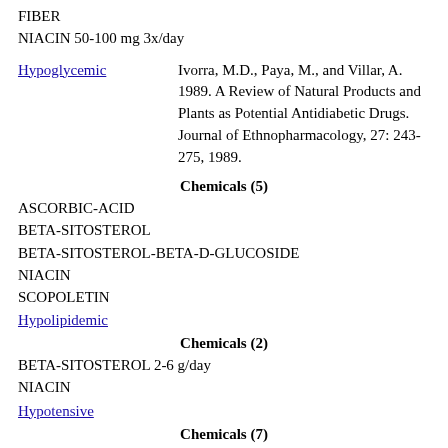FIBER
NIACIN 50-100 mg 3x/day
Ivorra, M.D., Paya, M., and Villar, A. 1989. A Review of Natural Products and Plants as Potential Antidiabetic Drugs. Journal of Ethnopharmacology, 27: 243-275, 1989.
Hypoglycemic
Chemicals (5)
ASCORBIC-ACID
BETA-SITOSTEROL
BETA-SITOSTEROL-BETA-D-GLUCOSIDE
NIACIN
SCOPOLETIN
Hypolipidemic
Chemicals (2)
BETA-SITOSTEROL 2-6 g/day
NIACIN
Hypotensive
Chemicals (7)
ASCORBIC-ACID 1,000 mg/man/day